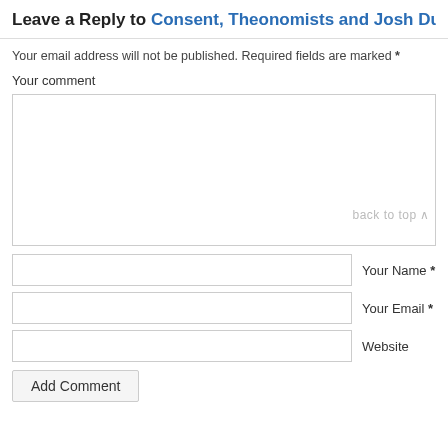Leave a Reply to Consent, Theonomists and Josh Duggar Cancel reply
Your email address will not be published. Required fields are marked *
Your comment
back to top ∧
Your Name *
Your Email *
Website
Add Comment